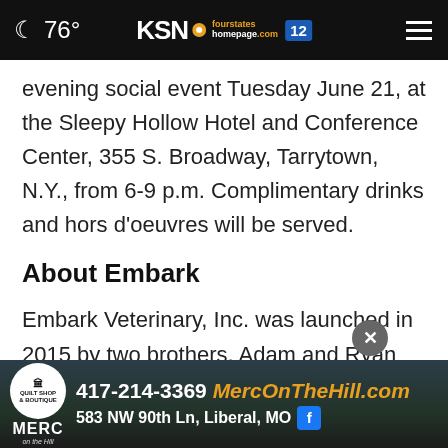76° KSN fourstates homepage.com 12
evening social event Tuesday June 21, at the Sleepy Hollow Hotel and Conference Center, 355 S. Broadway, Tarrytown, N.Y., from 6-9 p.m. Complimentary drinks and hors d'oeuvres will be served.
About Embark
Embark Veterinary, Inc. was launched in 2015 by two brothers, Adam and Ryan Boyko, who have a passion for scientific research and a lifelong love f...ss
[Figure (other): Advertisement banner for MERC on the Hill: 417-214-3369, MercOnTheHill.com, 583 NW 90th Ln, Liberal, MO with Facebook icon]